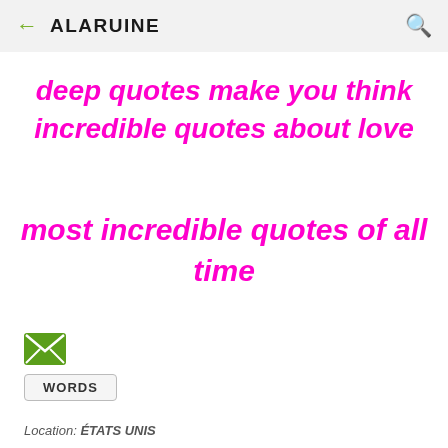← ALARUINE 🔍
deep quotes make you think
incredible quotes about love
most incredible quotes of all time
[Figure (other): Green email envelope icon]
WORDS
Location: ÉTATS UNIS